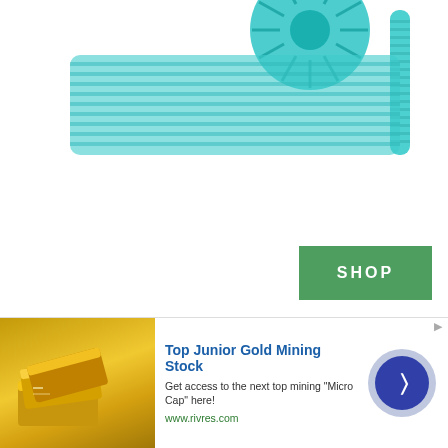[Figure (photo): Teal/turquoise colored pool cleaner or automatic pool cleaning device with ribbed hoses and fan-like top, viewed from above at an angle, on white background]
[Figure (other): Green SHOP button]
Type: Automatic | Auto mode: Yes | Filtration system: Yes | Cord length: Adjustable, up to 30 feet
[Figure (other): Advertisement banner: Top Junior Gold Mining Stock. Get access to the next top mining "Micro Cap" here! www.rivres.com. Shows gold bars image and a blue circular arrow button.]